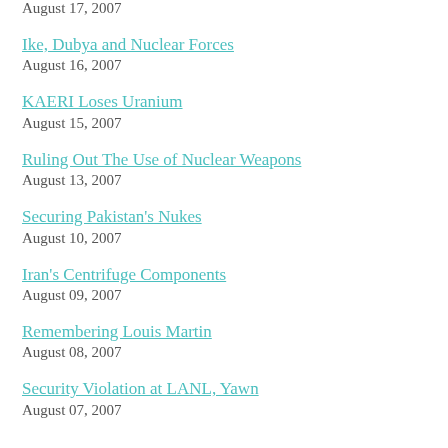August 17, 2007
Ike, Dubya and Nuclear Forces
August 16, 2007
KAERI Loses Uranium
August 15, 2007
Ruling Out The Use of Nuclear Weapons
August 13, 2007
Securing Pakistan's Nukes
August 10, 2007
Iran's Centrifuge Components
August 09, 2007
Remembering Louis Martin
August 08, 2007
Security Violation at LANL, Yawn
August 07, 2007